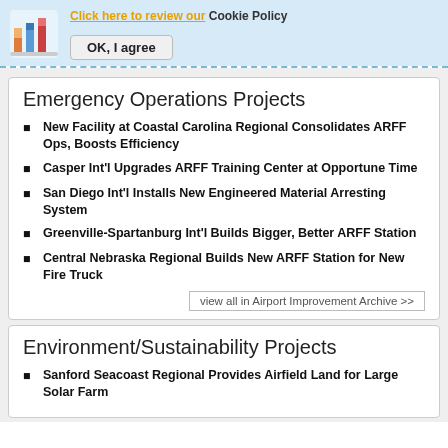[Figure (logo): Colorful bar chart logo icon]
Click here to review our Cookie Policy
OK, I agree
Emergency Operations Projects
New Facility at Coastal Carolina Regional Consolidates ARFF Ops, Boosts Efficiency
Casper Int'l Upgrades ARFF Training Center at Opportune Time
San Diego Int'l Installs New Engineered Material Arresting System
Greenville-Spartanburg Int'l Builds Bigger, Better ARFF Station
Central Nebraska Regional Builds New ARFF Station for New Fire Truck
view all in Airport Improvement Archive >>
Environment/Sustainability Projects
Sanford Seacoast Regional Provides Airfield Land for Large Solar Farm